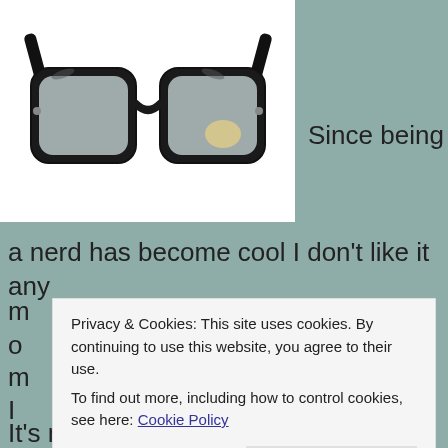[Figure (photo): Black-framed nerd glasses on white background]
Since being
a nerd has become cool I don't like it any
Privacy & Cookies: This site uses cookies. By continuing to use this website, you agree to their use. To find out more, including how to control cookies, see here: Cookie Policy
Close and accept
It's more likely the result of an overpriced